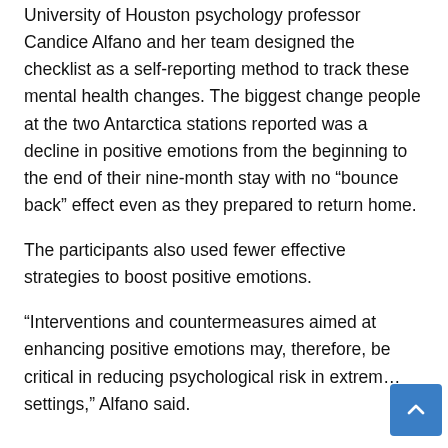University of Houston psychology professor Candice Alfano and her team designed the checklist as a self-reporting method to track these mental health changes. The biggest change people at the two Antarctica stations reported was a decline in positive emotions from the beginning to the end of their nine-month stay with no “bounce back” effect even as they prepared to return home.
The participants also used fewer effective strategies to boost positive emotions.
“Interventions and countermeasures aimed at enhancing positive emotions may, therefore, be critical in reducing psychological risk in extreme settings,” Alfano said.